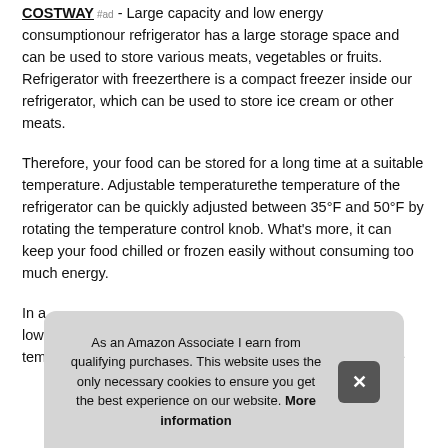COSTWAY #ad - Large capacity and low energy consumptionour refrigerator has a large storage space and can be used to store various meats, vegetables or fruits. Refrigerator with freezerthere is a compact freezer inside our refrigerator, which can be used to store ice cream or other meats.
Therefore, your food can be stored for a long time at a suitable temperature. Adjustable temperaturethe temperature of the refrigerator can be quickly adjusted between 35°F and 50°F by rotating the temperature control knob. What's more, it can keep your food chilled or frozen easily without consuming too much energy.
In a... lowe... temperature, so that they are not easily spoiled. Removable
As an Amazon Associate I earn from qualifying purchases. This website uses the only necessary cookies to ensure you get the best experience on our website. More information